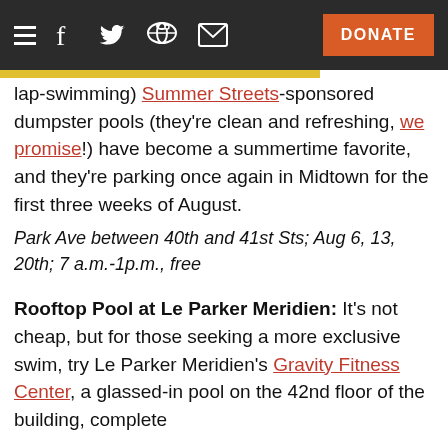≡  f  🐦  👽  ✉  DONATE
lap-swimming) Summer Streets-sponsored dumpster pools (they're clean and refreshing, we promise!) have become a summertime favorite, and they're parking once again in Midtown for the first three weeks of August.
Park Ave between 40th and 41st Sts; Aug 6, 13, 20th; 7 a.m.-1p.m., free
Rooftop Pool at Le Parker Meridien: It's not cheap, but for those seeking a more exclusive swim, try Le Parker Meridien's Gravity Fitness Center, a glassed-in pool on the 42nd floor of the building, complete